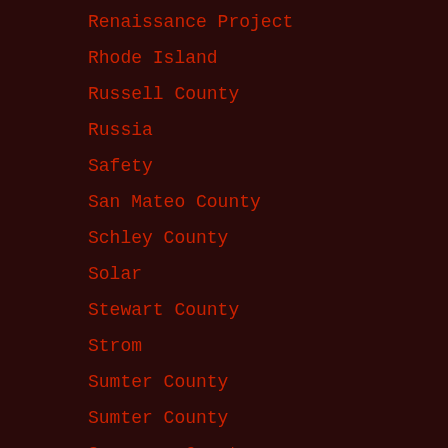Renaissance Project
Rhode Island
Russell County
Russia
Safety
San Mateo County
Schley County
Solar
Stewart County
Strom
Sumter County
Sumter County
Suwannee County
Talbot County
Tallapoosa County